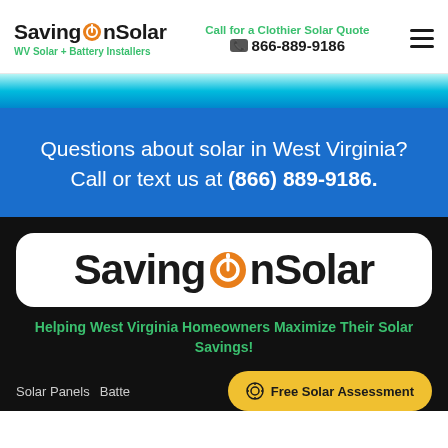SavingOnSolar — WV Solar + Battery Installers | Call for a Clothier Solar Quote 866-889-9186
Questions about solar in West Virginia? Call or text us at (866) 889-9186.
[Figure (logo): SavingOnSolar logo on white rounded card background]
Helping West Virginia Homeowners Maximize Their Solar Savings!
Solar Panels  Batte...  Free Solar Assessment